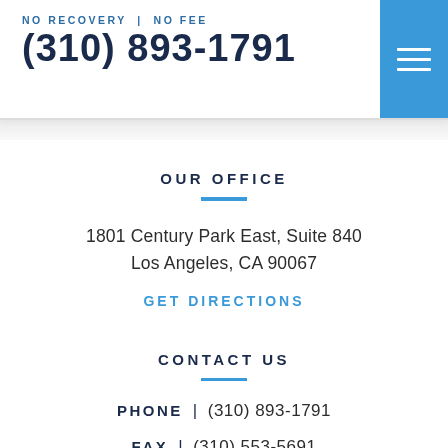NO RECOVERY | NO FEE
(310) 893-1791
OUR OFFICE
1801 Century Park East, Suite 840
Los Angeles, CA 90067
GET DIRECTIONS
CONTACT US
PHONE | (310) 893-1791
FAX | (310) 553-5691